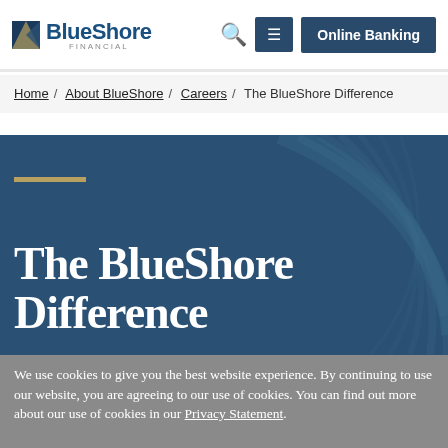BlueShore Financial | Online Banking
Home / About BlueShore / Careers / The BlueShore Difference
The BlueShore Difference
We use cookies to give you the best website experience. By continuing to use our website, you are agreeing to our use of cookies. You can find out more about our use of cookies in our Privacy Statement.